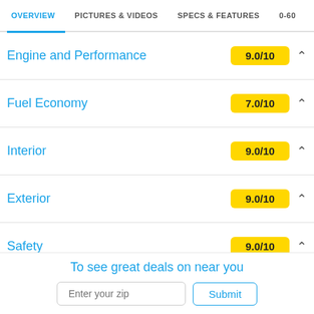OVERVIEW | PICTURES & VIDEOS | SPECS & FEATURES | 0-60
Engine and Performance 9.0/10
Fuel Economy 7.0/10
Interior 9.0/10
Exterior 9.0/10
Safety 9.0/10
Final Verdict
Important 2022 Cadillac CT4-V Blackwing Sedan Links:
0-60 and Quarter Mile Times
To see great deals on near you